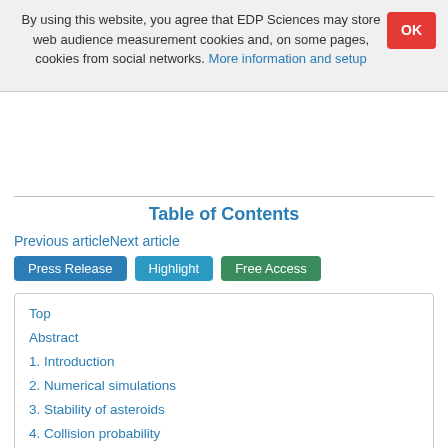By using this website, you agree that EDP Sciences may store web audience measurement cookies and, on some pages, cookies from social networks. More information and setup
Table of Contents
Previous articleNext article
Press Release  Highlight  Free Access
Top
Abstract
1. Introduction
2. Numerical simulations
3. Stability of asteroids
4. Collision probability
5. Conclusion
Acknowledgments
References
List of tables